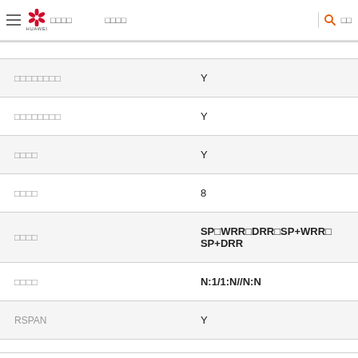Huawei | 华为产品 | 技术支持
| 特性 | 值 |
| --- | --- |
| □□□□□□□□ | Y |
| □□□□□□□□ | Y |
| □□□□ | Y |
| □□□□ | 8 |
| □□□□ | SP□WRR□DRR□SP+WRR□SP+DRR |
| □□□□ | N:1/1:N//N:N |
| RSPAN | Y |
|  |  |